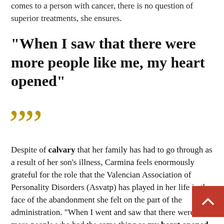comes to a person with cancer, there is no question of superior treatments, she ensures.
"When I saw that there were more people like me, my heart opened"
[Figure (illustration): Large decorative closing double quotation marks in gold/tan color]
Despite of calvary that her family has had to go through as a result of her son's illness, Carmina feels enormously grateful for the role that the Valencian Association of Personality Disorders (Asvatp) has played in her life in the face of the abandonment she felt on the part of the administration. "When I went and saw that there were more people who had the same thing as my heart opened. I felt understood when I only received misunderstanding from everyone. They